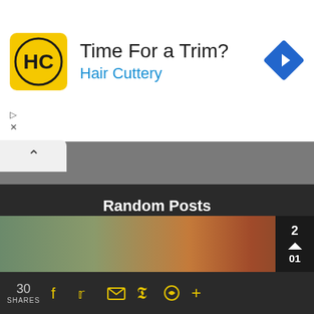[Figure (other): Hair Cuttery advertisement banner with yellow logo showing HC monogram, text 'Time For a Trim?' and 'Hair Cuttery', and a blue navigation diamond icon]
▷
×
^ Subscribe via RSS
[Figure (other): Green RSS feed icon button]
Random Posts
[Figure (photo): Partial view of a car and street scene, with a dark counter box showing 2 and 01]
30 SHARES
[Figure (other): Social share bar with Facebook, Twitter, email, Pinterest, WhatsApp, and plus icons in yellow]